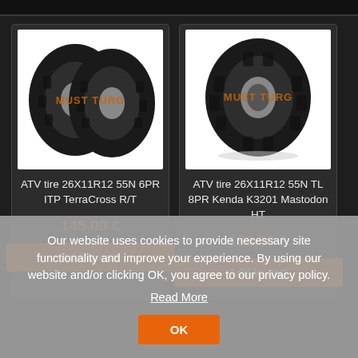[Figure (photo): ATV tire 26X11R12 55N 6PR ITP TerraCross R/T product photo — two dark off-road ATV tires on white background with 'MUST TURG' watermark in orange]
ATV tire 26X11R12 55N 6PR ITP TerraCross R/T
145,00 €
Add to cart
[Figure (photo): ATV tire 26X11R12 55N TL 8PR Kenda K3201 Mastodon HT product photo — single dark off-road ATV tire on white background with 'MUST TURG' watermark in orange]
ATV tire 26X11R12 55N TL 8PR Kenda K3201 Mastodon HT
190,00 €
Add to cart
Our website uses cookies to provide necessary site functionality and improve your experience. By using our website and/or clicking OK, you agree to our privacy policy.
Read More
OK